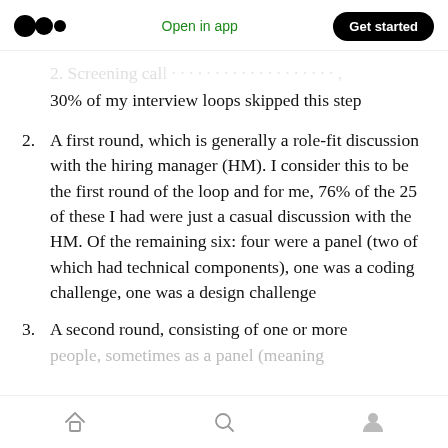Open in app | Get started
30% of my interview loops skipped this step
2. A first round, which is generally a role-fit discussion with the hiring manager (HM). I consider this to be the first round of the loop and for me, 76% of the 25 of these I had were just a casual discussion with the HM. Of the remaining six: four were a panel (two of which had technical components), one was a coding challenge, one was a design challenge
3. A second round, consisting of one or more people, sometimes as a panel (meaning
Home | Search | Profile